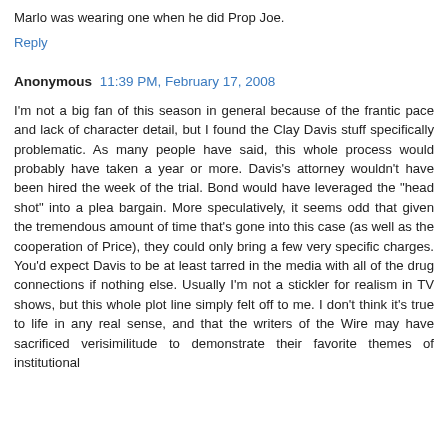Marlo was wearing one when he did Prop Joe.
Reply
Anonymous  11:39 PM, February 17, 2008
I'm not a big fan of this season in general because of the frantic pace and lack of character detail, but I found the Clay Davis stuff specifically problematic. As many people have said, this whole process would probably have taken a year or more. Davis's attorney wouldn't have been hired the week of the trial. Bond would have leveraged the "head shot" into a plea bargain. More speculatively, it seems odd that given the tremendous amount of time that's gone into this case (as well as the cooperation of Price), they could only bring a few very specific charges. You'd expect Davis to be at least tarred in the media with all of the drug connections if nothing else. Usually I'm not a stickler for realism in TV shows, but this whole plot line simply felt off to me. I don't think it's true to life in any real sense, and that the writers of the Wire may have sacrificed verisimilitude to demonstrate their favorite themes of institutional